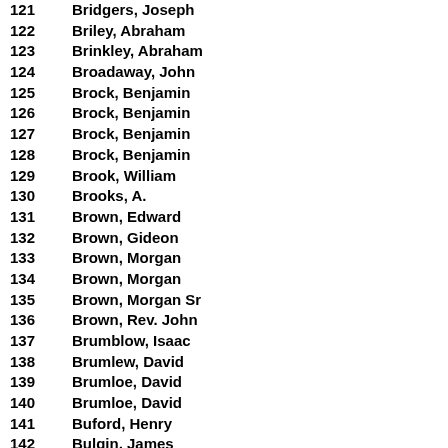121   Bridgers, Joseph
122   Briley, Abraham
123   Brinkley, Abraham
124   Broadaway, John
125   Brock, Benjamin
126   Brock, Benjamin
127   Brock, Benjamin
128   Brock, Benjamin
129   Brook, William
130   Brooks, A.
131   Brown, Edward
132   Brown, Gideon
133   Brown, Morgan
134   Brown, Morgan
135   Brown, Morgan Sr
136   Brown, Rev. John
137   Brumblow, Isaac
138   Brumlew, David
139   Brumloe, David
140   Brumloe, David
141   Buford, Henry
142   Bulgin, James
143   Burton, Richard
144   Byrd, Thomas
145   Byrd, Thomas
146   Byrd, Thomas